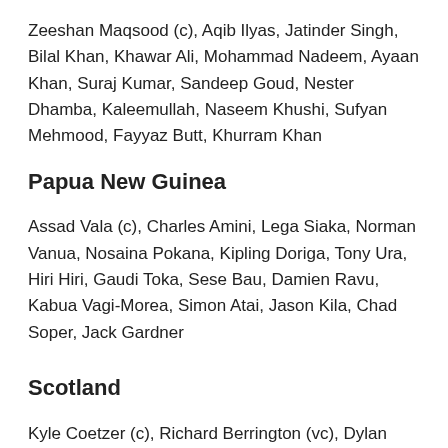Zeeshan Maqsood (c), Aqib Ilyas, Jatinder Singh, Bilal Khan, Khawar Ali, Mohammad Nadeem, Ayaan Khan, Suraj Kumar, Sandeep Goud, Nester Dhamba, Kaleemullah, Naseem Khushi, Sufyan Mehmood, Fayyaz Butt, Khurram Khan
Papua New Guinea
Assad Vala (c), Charles Amini, Lega Siaka, Norman Vanua, Nosaina Pokana, Kipling Doriga, Tony Ura, Hiri Hiri, Gaudi Toka, Sese Bau, Damien Ravu, Kabua Vagi-Morea, Simon Atai, Jason Kila, Chad Soper, Jack Gardner
Scotland
Kyle Coetzer (c), Richard Berrington (vc), Dylan Budge